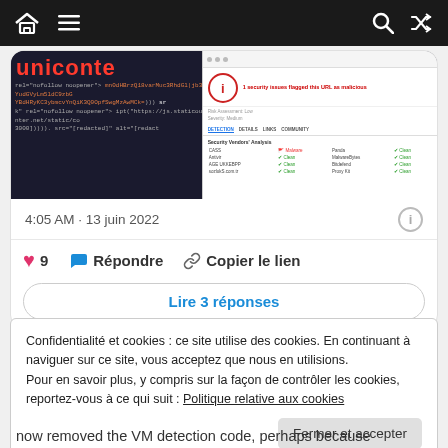[Figure (screenshot): Navigation bar with home, menu icons on left and search, shuffle icons on right, dark background]
[Figure (screenshot): Tweet screenshot showing a website with red title 'uniconte' on dark background with code, and a browser security warning panel on the right]
4:05 AM · 13 juin 2022
9  Répondre  Copier le lien
Lire 3 réponses
Confidentialité et cookies : ce site utilise des cookies. En continuant à naviguer sur ce site, vous acceptez que nous en utilisions. Pour en savoir plus, y compris sur la façon de contrôler les cookies, reportez-vous à ce qui suit : Politique relative aux cookies
Fermer et accepter
now removed the VM detection code, perhaps because